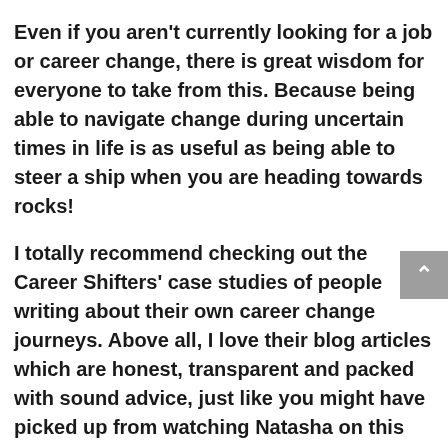Even if you aren't currently looking for a job or career change, there is great wisdom for everyone to take from this. Because being able to navigate change during uncertain times in life is as useful as being able to steer a ship when you are heading towards rocks!
I totally recommend checking out the Career Shifters' case studies of people writing about their own career change journeys. Above all, I love their blog articles which are honest, transparent and packed with sound advice, just like you might have picked up from watching Natasha on this interview!